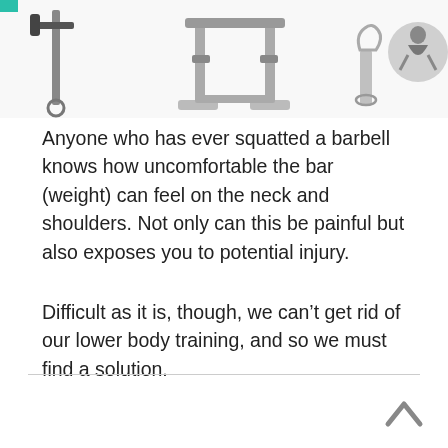[Figure (photo): Top banner area showing fitness equipment images: a roller/paint roller handle, a barbell squat rack/safety bar stand (gray), a straight bar or collar, and a circular photo of a person exercising.]
Anyone who has ever squatted a barbell knows how uncomfortable the bar (weight) can feel on the neck and shoulders. Not only can this be painful but also exposes you to potential injury.
Difficult as it is, though, we can't get rid of our lower body training, and so we must find a solution.